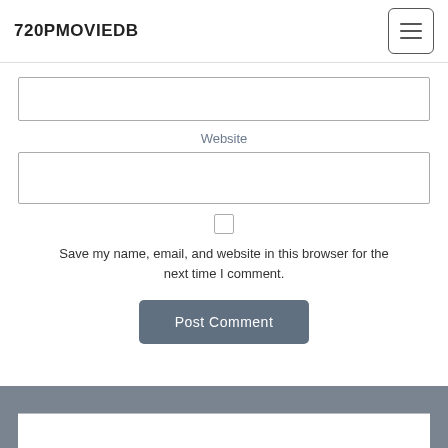720PMOVIEDB
[Figure (screenshot): Empty text input box for a form field]
Website
[Figure (screenshot): Empty text input box for Website field]
[Figure (screenshot): Checkbox (unchecked)]
Save my name, email, and website in this browser for the next time I comment.
[Figure (screenshot): Post Comment button]
[Figure (screenshot): Footer bar with dark grey background and white card at bottom]